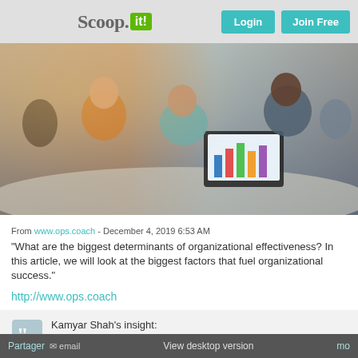Scoop.it! | Login | Join Free
[Figure (photo): Office/meeting scene with people sitting around a table, working with laptops showing bar charts, in a modern workspace setting]
From www.ops.coach - December 4, 2019 6:53 AM
"What are the biggest determinants of organizational effectiveness? In this article, we will look at the biggest factors that fuel organizational success."
http://www.ops.coach
Kamyar Shah's insight:
http://www.ops.coach
Partager | email | View desktop version | mo